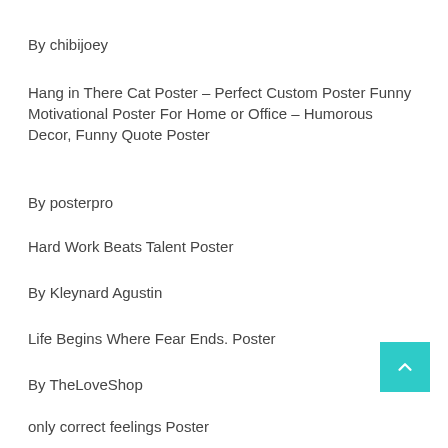By chibijoey
Hang in There Cat Poster – Perfect Custom Poster Funny Motivational Poster For Home or Office – Humorous Decor, Funny Quote Poster
By posterpro
Hard Work Beats Talent Poster
By Kleynard Agustin
Life Begins Where Fear Ends. Poster
By TheLoveShop
only correct feelings Poster
By ...